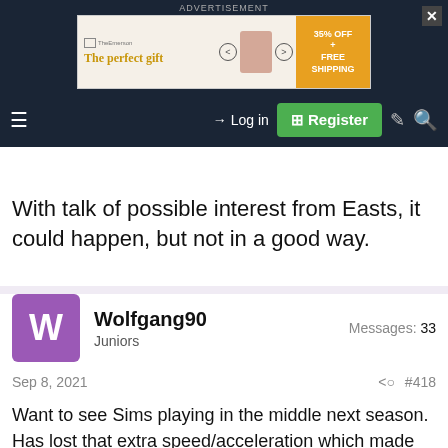[Figure (screenshot): Advertisement banner for a gift food product showing 35% OFF + FREE SHIPPING with bowl imagery and navigation arrows]
ADVERTISEMENT | Log in | Register
With talk of possible interest from Easts, it could happen, but not in a good way.
Wolfgang90
Juniors
Messages: 33
Sep 8, 2021  #418
Want to see Sims playing in the middle next season. Has lost that extra speed/acceleration which made him formidable on the edge but has enough of it to be effective in the middle. 40-50mins impact stint, possibly from interchange bench could be his role. He's a big